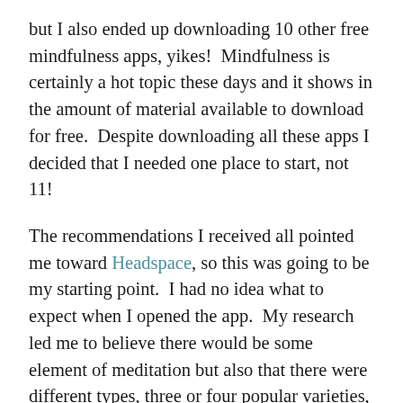but I also ended up downloading 10 other free mindfulness apps, yikes!  Mindfulness is certainly a hot topic these days and it shows in the amount of material available to download for free.  Despite downloading all these apps I decided that I needed one place to start, not 11!
The recommendations I received all pointed me toward Headspace, so this was going to be my starting point.  I had no idea what to expect when I opened the app.  My research led me to believe there would be some element of meditation but also that there were different types, three or four popular varieties, associated with Mindfulness.  Thankfully, Headspace has been super user friendly.  In fact, they have a 10-day starter series for people like me (well, for everyone really.)  This series includes a short two-minute introduction animation that